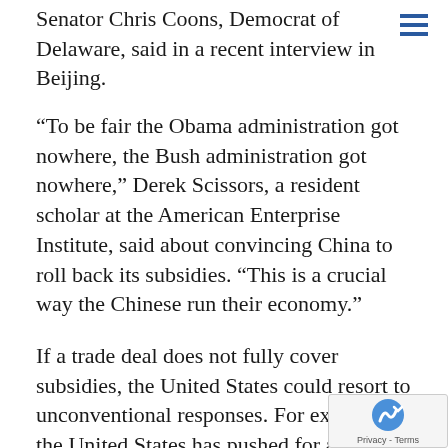Senator Chris Coons, Democrat of Delaware, said in a recent interview in Beijing.
“To be fair the Obama administration got nowhere, the Bush administration got nowhere,” Derek Scissors, a resident scholar at the American Enterprise Institute, said about convincing China to roll back its subsidies. “This is a crucial way the Chinese run their economy.”
If a trade deal does not fully cover subsidies, the United States could resort to unconventional responses. For example, the United States has pushed for an extensive revision of its laws surrounding foreign investments and exports of high-tech products, primarily aimed at China, to try to preserve its commercial and military edge.
The Trump administration has made some progress in the emerging trade deal on other ways the Chinese government props up its industries. Beijing has promised